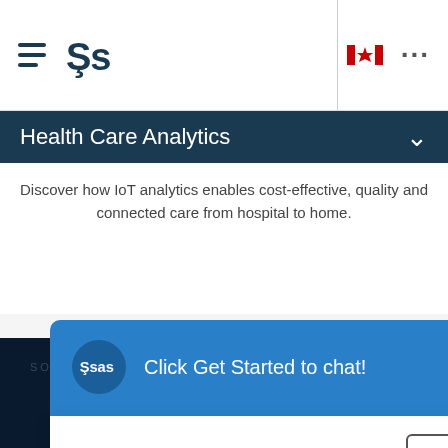[Figure (screenshot): SAS website navigation bar with hamburger menu, SAS logo, Canadian flag icon, and ellipsis menu]
Health Care Analytics
Discover how IoT analytics enables cost-effective, quality and connected care from hospital to home.
[Figure (screenshot): Chat popup overlay with SAS logo, 'Click Get Started to chat!' message, close button, and Get Started button]
Rec
[Figure (photo): Bottom strip showing dark digital/code themed image on left, teal section in middle, and gray/teal section on right with three white dots]